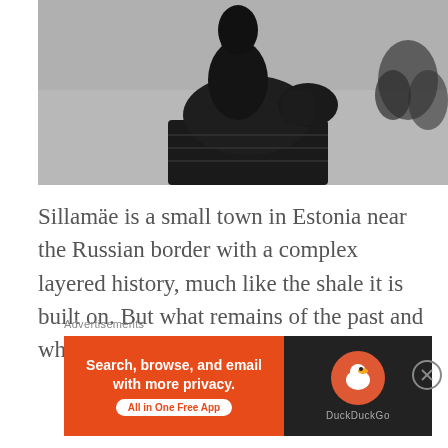[Figure (photo): Black and white photo of a dark stone statue of a figure on horseback, with bare trees visible in the background against a grey overcast sky.]
Sillamäe is a small town in Estonia near the Russian border with a complex layered history, much like the shale it is built on. But what remains of the past and what does the most recent layer look like?
Advertisements
[Figure (screenshot): Advertisement banner for DuckDuckGo: orange left panel reads 'Search, browse, and email with more privacy. All in One Free App'; black right panel shows the DuckDuckGo logo circle and text 'DuckDuckGo'.]